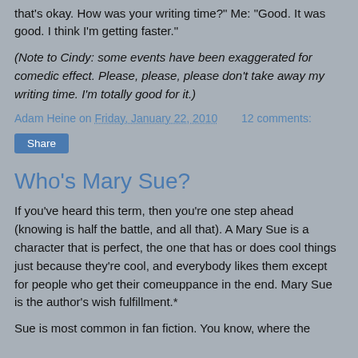that's okay. How was your writing time?" Me: "Good. It was good. I think I'm getting faster."
(Note to Cindy: some events have been exaggerated for comedic effect. Please, please, please don't take away my writing time. I'm totally good for it.)
Adam Heine on Friday, January 22, 2010   12 comments:
Share
Who's Mary Sue?
If you've heard this term, then you're one step ahead (knowing is half the battle, and all that). A Mary Sue is a character that is perfect, the one that has or does cool things just because they're cool, and everybody likes them except for people who get their comeuppance in the end. Mary Sue is the author's wish fulfillment.*
Sue is most common in fan fiction. You know, where the